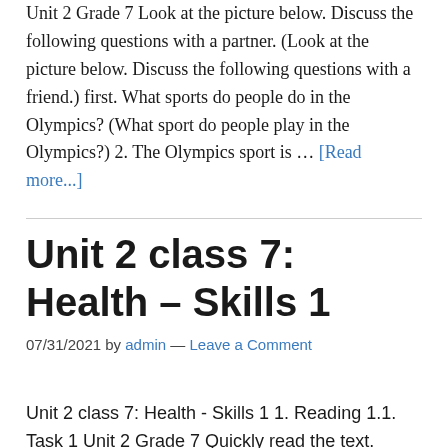Unit 2 Grade 7 Look at the picture below. Discuss the following questions with a partner. (Look at the picture below. Discuss the following questions with a friend.) first. What sports do people do in the Olympics? (What sport do people play in the Olympics?) 2. The Olympics sport is … [Read more...]
Unit 2 class 7: Health – Skills 1
07/31/2021 by admin — Leave a Comment
Unit 2 class 7: Health - Skills 1 1. Reading 1.1. Task 1 Unit 2 Grade 7 Quickly read the text. Match the correct